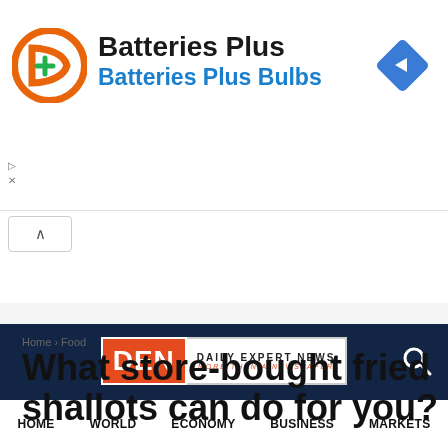[Figure (infographic): Batteries Plus advertisement banner with orange circular logo containing green plus sign, company name 'Batteries Plus' in bold black, subtitle 'Batteries Plus Bulbs' in blue, and blue diamond navigation icon on the right]
ADVERTISEMENT
[Figure (logo): Daily Expert News (DEN) logo on dark navy background with orange DEN box and white text area reading 'DAILY EXPERT NEWS' and 'MORE THAN A NEWSPAPER']
HOME  WORLD  ECONOMY  BUSINESS  MARKETS
ADVERTISEMENT
Home > Food
What store-bought fried shallots can do for you?